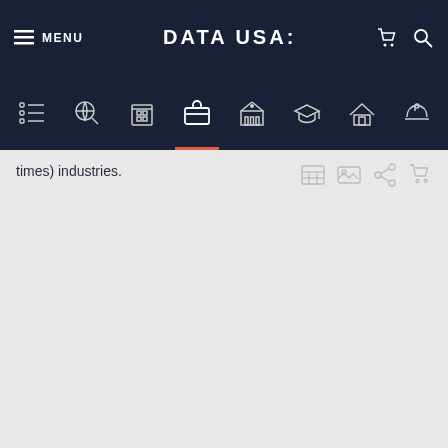DATA USA: navigation header with MENU, logo, cart, and search icons
[Figure (screenshot): Icon navigation row with 8 category icons including list, globe search, building, briefcase (active/selected), government building, graduation cap, house, and safety helmet]
times) industries.
[Figure (infographic): Mini toolbar with 4 small icons: table, image, share, cart — in light gray]